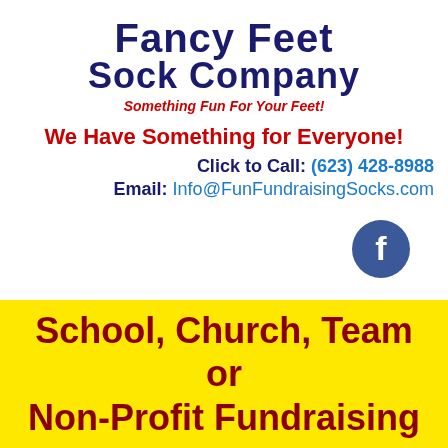[Figure (logo): Fancy Feet Sock Company logo with stylized text in dark navy blue on white background]
Something Fun For Your Feet!
We Have Something for Everyone!
Click to Call: (623) 428-8988
Email: Info@FunFundraisingSocks.com
[Figure (logo): Facebook icon - blue circle with white letter f]
School, Church, Team or Non-Profit Fundraising